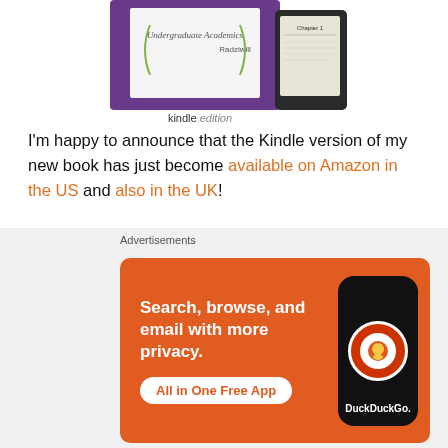[Figure (illustration): Kindle e-reader device showing a book cover with text 'Undergraduate Academics' and 'Radziwill', with 'kindle edition' label. Partial view cropped at top.]
I'm happy to announce that the Kindle version of my new book has just become available on Amazon in the US and also in the UK!
Book Reviews
Quality
Random Thoughts
Socio-Technical Systems
THE UNDERGRAD JUNGLE
Advertisements
[Figure (screenshot): DuckDuckGo advertisement banner: orange background with text 'Search, browse, and email with more privacy. All in One Free App' with DuckDuckGo logo on a phone mockup.]